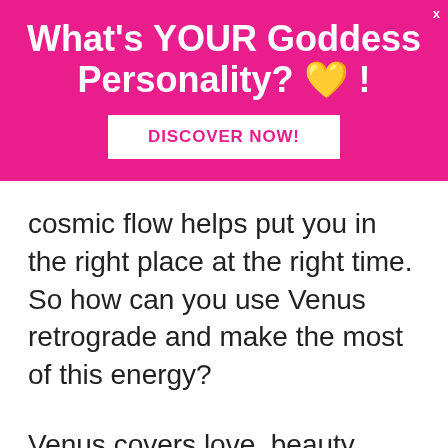[Figure (infographic): Pink advertisement banner with white bold text reading 'What's YOUR Goddess Personality? 💛 !' and a white button labeled 'DISCOVER NOW!' in pink text. An 'x' close button is in the top right corner.]
cosmic flow helps put you in the right place at the right time. So how can you use Venus retrograde and make the most of this energy?
Venus covers love, beauty, money, the finer things in life.
Retrograde means hold up, take a look, let's review.